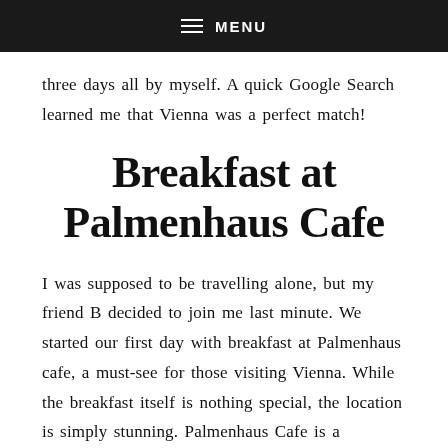MENU
three days all by myself. A quick Google Search learned me that Vienna was a perfect match!
Breakfast at Palmenhaus Cafe
I was supposed to be travelling alone, but my friend B decided to join me last minute. We started our first day with breakfast at Palmenhaus cafe, a must-see for those visiting Vienna. While the breakfast itself is nothing special, the location is simply stunning. Palmenhaus Cafe is a brasserie located inside a former glass house in the Burggarten. The Art